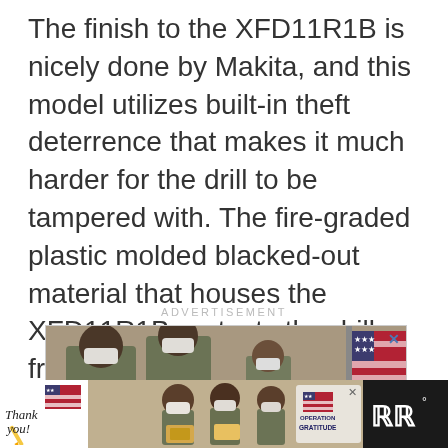The finish to the XFD11R1B is nicely done by Makita, and this model utilizes built-in theft deterrence that makes it much harder for the drill to be tampered with. The fire-graded plastic molded blacked-out material that houses the XFD11R1B protects the drill from heat damage and potential cracking under extreme heat conditions.
ADVERTISEMENT
[Figure (photo): Photo of soldiers wearing military uniforms and face masks, appearing to be processing or checking paperwork, with a flag visible on the right side.]
[Figure (photo): Bottom banner advertisement showing 'Thank you!' text with American flag motif on left side, soldiers holding packages in middle, and Operation Gratitude logo on right.]